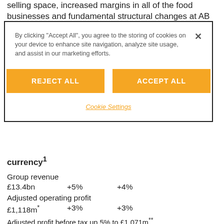selling space, increased margins in all of the food businesses and fundamental structural changes at AB
[Figure (screenshot): Cookie consent modal dialog with 'Reject All' and 'Accept All' orange buttons, and a 'Cookie Settings' link]
currency¹
Group revenue
£13.4bn   +5%   +4%
Adjusted operating profit
£1,118m*   +3%   +3%
Adjusted profit before tax up 5% to £1,071m**
Adjusted earnings per share up 5% to 106.2p**